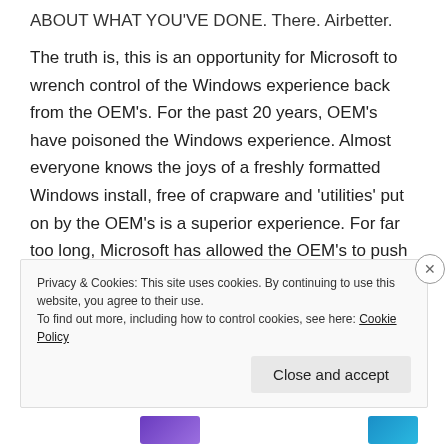ABOUT WHAT YOU'VE DONE. There. Airbetter.
The truth is, this is an opportunity for Microsoft to wrench control of the Windows experience back from the OEM's. For the past 20 years, OEM's have poisoned the Windows experience. Almost everyone knows the joys of a freshly formatted Windows install, free of crapware and 'utilities' put on by the OEM's is a superior experience. For far too long, Microsoft has allowed the OEM's to push their crappy programs, adware and marginal utilities out to an unsuspecting public. Now a true, real life exploit caused by this behavior has been
Privacy & Cookies: This site uses cookies. By continuing to use this website, you agree to their use.
To find out more, including how to control cookies, see here: Cookie Policy
Close and accept